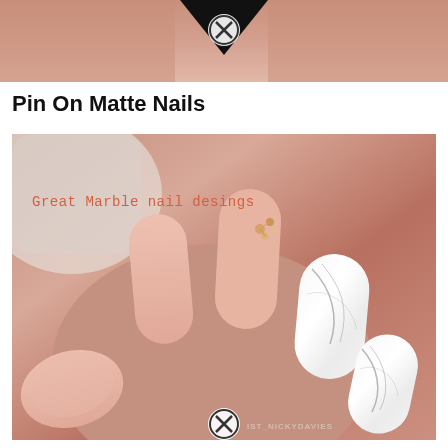[Figure (photo): Top cropped photo showing close-up of hands/fingers with peach/nude matte nail polish, with a close/X button overlay at the top center]
Pin On Matte Nails
[Figure (photo): Photo of a hand with coffin-shaped nails featuring peach/nude matte polish on most nails, two marble-effect white nails with gray veining, and small gem/crystal decorations on the ring finger nail. Text overlay reads 'Great Marble nail desings' in orange-red monospace font. Watermark 'IST_NICKYDAVIES' visible at bottom right. Close/X button at bottom center.]